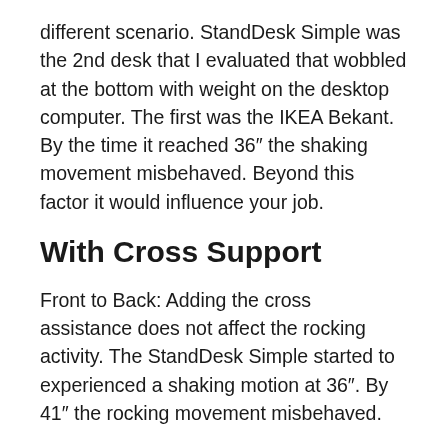different scenario. StandDesk Simple was the 2nd desk that I evaluated that wobbled at the bottom with weight on the desktop computer. The first was the IKEA Bekant. By the time it reached 36″ the shaking movement misbehaved. Beyond this factor it would influence your job.
With Cross Support
Front to Back: Adding the cross assistance does not affect the rocking activity. The StandDesk Simple started to experienced a shaking motion at 36″. By 41″ the rocking movement misbehaved.
Left to Right: Including the cross assistance